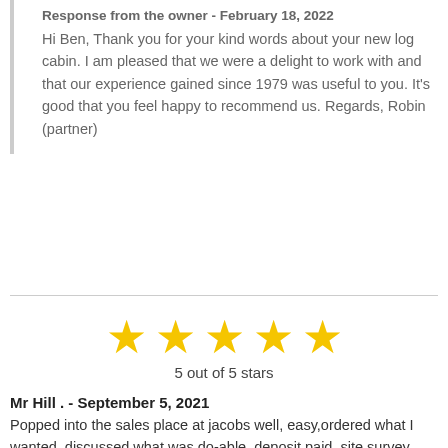Response from the owner - February 18, 2022
Hi Ben, Thank you for your kind words about your new log cabin. I am pleased that we were a delight to work with and that our experience gained since 1979 was useful to you. It's good that you feel happy to recommend us. Regards, Robin (partner)
[Figure (other): 5 gold stars rating graphic]
5 out of 5 stars
Mr Hill . - September 5, 2021
Popped into the sales place at jacobs well, easy,ordered what I wanted, discussed what was do-able, deposit paid, site survey then completed, all went nice and swimmingly. Date fixed for the stuff to arrive, in the mean time I sorted out the site, trees and bushes cleared and ground levelled. All good. The stuff arrived on the